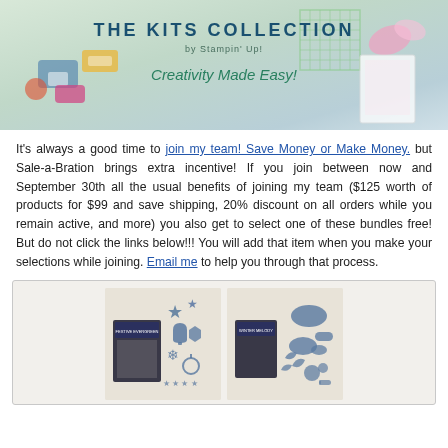[Figure (photo): Banner image for 'The Kits Collection by Stampin' Up!' with tagline 'Creativity Made Easy!' showing crafting supplies and colorful paper crafts on a light background.]
It's always a good time to join my team! Save Money or Make Money. but Sale-a-Bration brings extra incentive! If you join between now and September 30th all the usual benefits of joining my team ($125 worth of products for $99 and save shipping, 20% discount on all orders while you remain active, and more) you also get to select one of these bundles free! But do not click the links below!!! You will add that item when you make your selections while joining. Email me to help you through that process.
[Figure (photo): Two product images side by side showing Stampin' Up! stamp sets: left is a Christmas stamp set with snowflake and holiday shapes, right is a coordinating dies/punch set with leaf and oval shapes, both in light blue-gray packaging on beige backgrounds.]